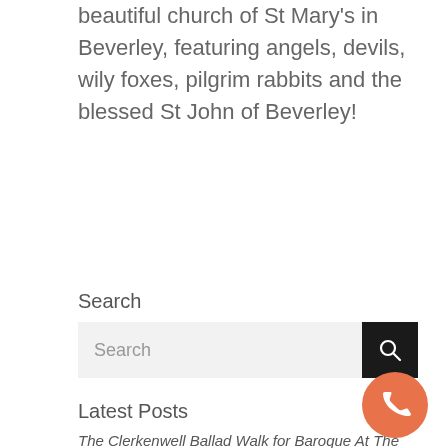beautiful church of St Mary's in Beverley, featuring angels, devils, wily foxes, pilgrim rabbits and the blessed St John of Beverley!
Search
Search
Latest Posts
The Clerkenwell Ballad Walk for Baroque At The Edge Festival